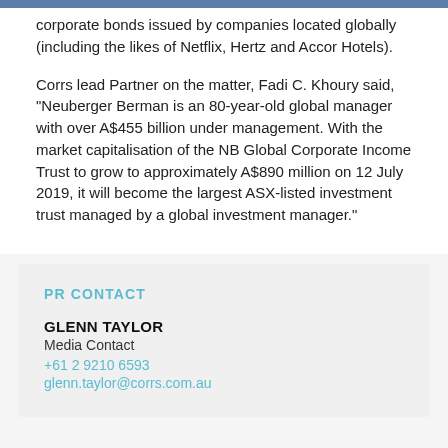corporate bonds issued by companies located globally (including the likes of Netflix, Hertz and Accor Hotels).
Corrs lead Partner on the matter, Fadi C. Khoury said, "Neuberger Berman is an 80-year-old global manager with over A$455 billion under management. With the market capitalisation of the NB Global Corporate Income Trust to grow to approximately A$890 million on 12 July 2019, it will become the largest ASX-listed investment trust managed by a global investment manager."
PR CONTACT
GLENN TAYLOR
Media Contact
+61 2 9210 6593
glenn.taylor@corrs.com.au